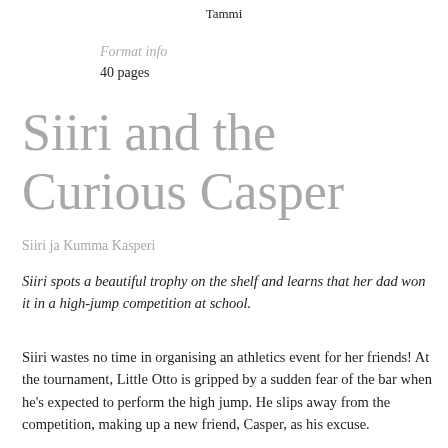Tammi
Format info
40 pages
Siiri and the Curious Casper
Siiri ja Kumma Kasperi
Siiri spots a beautiful trophy on the shelf and learns that her dad won it in a high-jump competition at school.
Siiri wastes no time in organising an athletics event for her friends! At the tournament, Little Otto is gripped by a sudden fear of the bar when he's expected to perform the high jump. He slips away from the competition, making up a new friend, Casper, as his excuse.